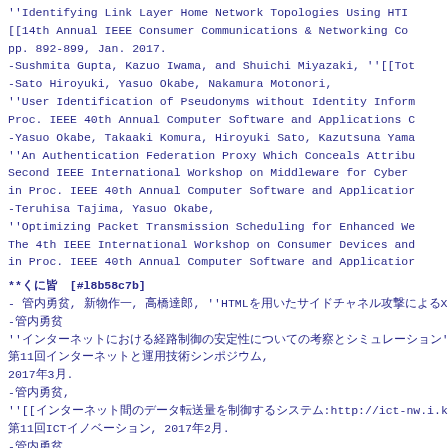''Identifying Link Layer Home Network Topologies Using HTI
[[14th Annual IEEE Consumer Communications & Networking Co
pp. 892-899, Jan. 2017.
-Sushmita Gupta, Kazuo Iwama, and Shuichi Miyazaki, ''[[Tot
-Sato Hiroyuki, Yasuo Okabe, Nakamura Motonori,
''User Identification of Pseudonyms without Identity Inform
Proc. IEEE 40th Annual Computer Software and Applications C
-Yasuo Okabe, Takaaki Komura, Hiroyuki Sato, Kazutsuna Yama
''An Authentication Federation Proxy Which Conceals Attribu
Second IEEE International Workshop on Middleware for Cyber
in Proc. IEEE 40th Annual Computer Software and Application
-Teruhisa Tajima, Yasuo Okabe,
''Optimizing Packet Transmission Scheduling for Enhanced We
The 4th IEEE International Workshop on Consumer Devices and
in Proc. IEEE 40th Annual Computer Software and Application
**国内発表 [#l8b58c7b]
- 竹内勇貴, 新熊亮一, 高橋達郎, ''HTMLを用いたサイドチャネル攻撃によるXSS攻撃手法'', 情報処理学会
-竹内勇貴
''インターネットにおける経路制御の安定性についての考察とシミュレーション'',
第11回インターネットと運用技術シンポジウム,
2017年3月.
-竹内勇貴,
''[[インターネット間のデータ転送量を制御するシステム:http://ict-nw.i.kyoto-u.ac.jp
第11回ICTイノベーション, 2017年2月.
-竹内勇貴
''ネットワーク仮想化における映像配信システム'',
電子情報通信学会ネットワークシステム研究会,
2017年1月.
-竹内勇貴